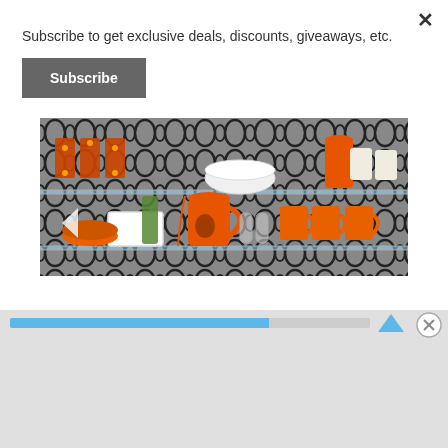Subscribe to get exclusive deals, discounts, giveaways, etc.
Subscribe
[Figure (photo): Kitchen shelves with orange kitchenware and mugs on a black and white patterned tile background]
[Figure (photo): Ulta Beauty advertisement banner showing makeup/beauty imagery with SHOP NOW call to action]
Advertisements